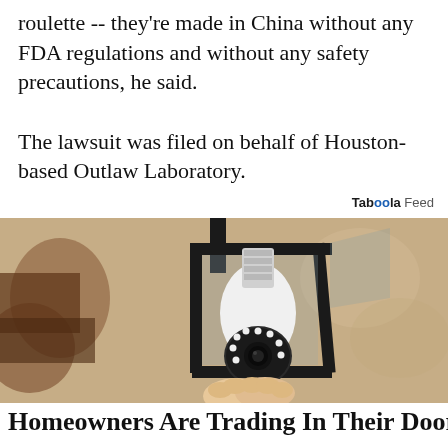roulette -- they're made in China without any FDA regulations and without any safety precautions, he said.
The lawsuit was filed on behalf of Houston-based Outlaw Laboratory.
Taboola Feed
[Figure (photo): A light bulb security camera being installed into an outdoor wall lantern fixture mounted on a stucco wall. A hand is holding the camera bulb device from below.]
Homeowners Are Trading In Their Doorbell